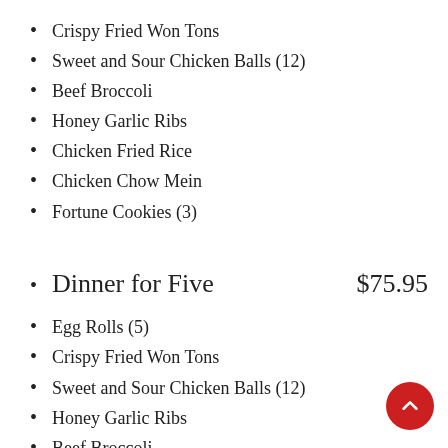Crispy Fried Won Tons
Sweet and Sour Chicken Balls (12)
Beef Broccoli
Honey Garlic Ribs
Chicken Fried Rice
Chicken Chow Mein
Fortune Cookies (3)
Dinner for Five   $75.95
Egg Rolls (5)
Crispy Fried Won Tons
Sweet and Sour Chicken Balls (12)
Honey Garlic Ribs
Beef Broccoli